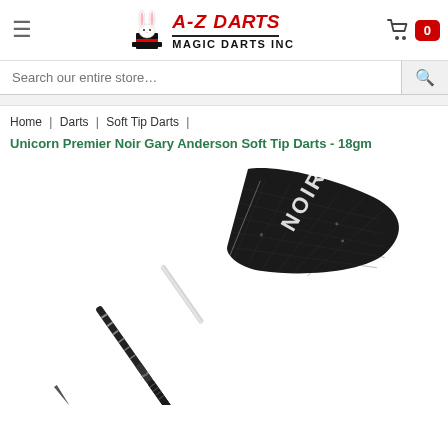A-Z Darts Magic Darts Inc - navigation header with hamburger menu, logo, and cart (0 items)
Search our entire store…
Home | Darts | Soft Tip Darts |
Unicorn Premier Noir Gary Anderson Soft Tip Darts - 18gm
[Figure (photo): Product photo of a Unicorn Premier Noir dart with black NOIR flight and metallic shaft/barrel, shown diagonally]